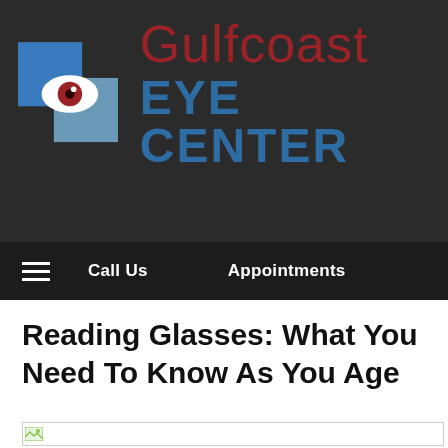[Figure (logo): Gulfcoast Eye Center logo: dark background header with stylized eye icon on blue/grey geometric squares, red and blue text reading 'Gulfcoast EYE CENTER']
Call Us   Appointments
Reading Glasses: What You Need To Know As You Age
[Figure (photo): Broken/missing image placeholder at the top of the article body]